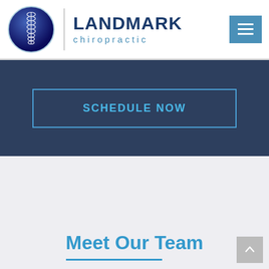[Figure (logo): Landmark Chiropractic logo: circular blue globe with white spine illustration, company name LANDMARK chiropractic in navy and teal]
SCHEDULE NOW
Meet Our Team